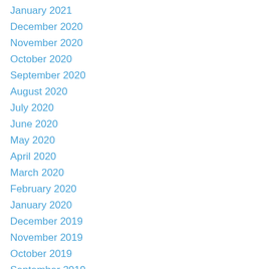January 2021
December 2020
November 2020
October 2020
September 2020
August 2020
July 2020
June 2020
May 2020
April 2020
March 2020
February 2020
January 2020
December 2019
November 2019
October 2019
September 2019
July 2019
June 2019
May 2019